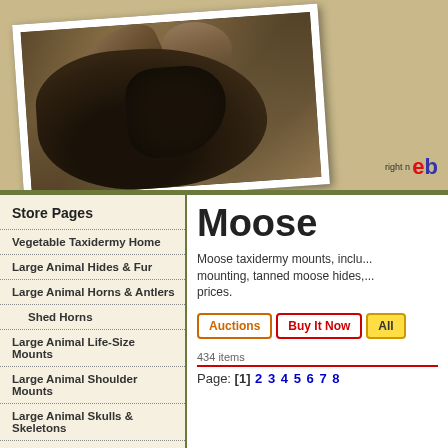[Figure (photo): Website banner showing a moose photograph with antlers in a natural outdoor setting, with a tan/khaki textured background. Photo is displayed at a slight angle with a white border like a printed photo. An eBay logo is visible in the bottom right corner.]
Store Pages
Vegetable Taxidermy Home
Large Animal Hides & Fur
Large Animal Horns & Antlers
Shed Horns
Large Animal Life-Size Mounts
Large Animal Shoulder Mounts
Large Animal Skulls & Skeletons
Small Animal Hides & Fur
Moose
Moose taxidermy mounts, including mounting, tanned moose hides, prices.
434 items
Page: [1] 2 3 4 5 6 7 8